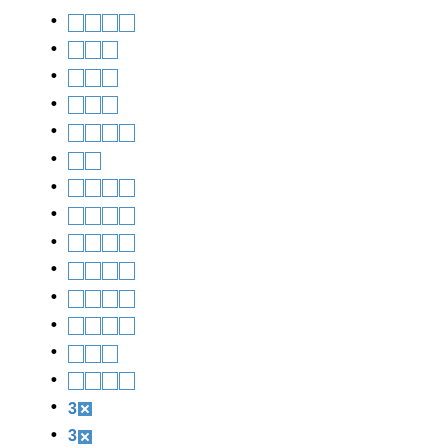□□□□
□□□
□□□
□□□
□□□□
□□
□□□□
□□□□
□□□□
□□□□
□□□□
□□□□
□□□
□□□□
3✗
3✗